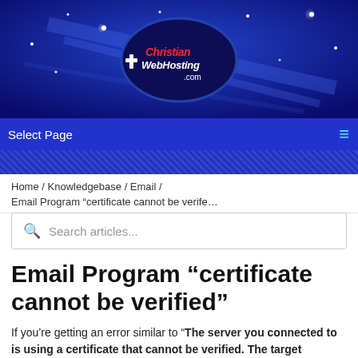[Figure (logo): Christian WebHosting .com logo on a blue starry banner background with diagonal light streaks]
Select Page
Home / Knowledgebase / Email / Email Program “certificate cannot be verife…
Search articles...
Email Program “certificate cannot be verified”
If you’re getting an error similar to “The server you connected to is using a certificate that cannot be verified. The target principal name is incorrect.” This article should help.